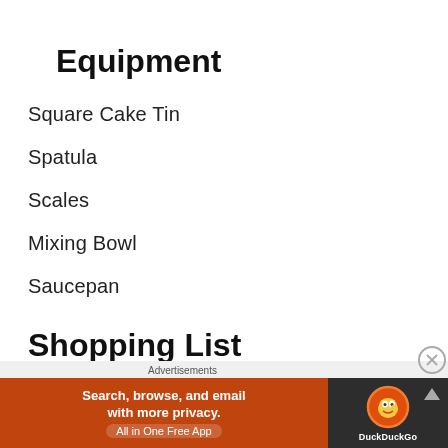Equipment
Square Cake Tin
Spatula
Scales
Mixing Bowl
Saucepan
Shopping List
[Figure (screenshot): DuckDuckGo advertisement banner: orange left panel with text 'Search, browse, and email with more privacy. All in One Free App', dark right panel with DuckDuckGo logo and name.]